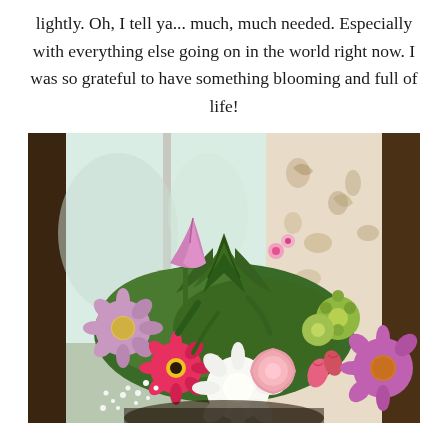lightly.  Oh, I tell ya... much, much needed.  Especially with everything else going on in the world right now.  I was so grateful to have something blooming and full of life!
[Figure (photo): A colorful floral bouquet arrangement placed by a window with light curtains. The bouquet includes pink tulips, purple and pink daisies/gerbera daisy, white chrysanthemums, pink carnations, alstroemeria, green button mums, baby's breath, and various greenery, set against a bright window with a floral-patterned curtain on the right.]